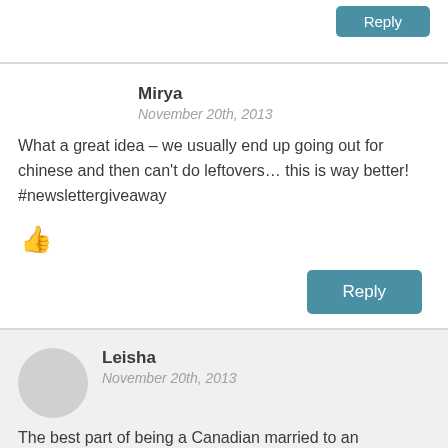Reply
Mirya
November 20th, 2013
What a great idea – we usually end up going out for chinese and then can't do leftovers... this is way better! #newslettergiveaway
[Figure (illustration): Thumbs up icon]
Reply
Leisha
November 20th, 2013
The best part of being a Canadian married to an